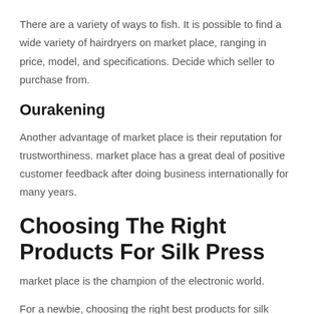There are a variety of ways to fish. It is possible to find a wide variety of hairdryers on market place, ranging in price, model, and specifications. Decide which seller to purchase from.
Ourakening
Another advantage of market place is their reputation for trustworthiness. market place has a great deal of positive customer feedback after doing business internationally for many years.
Choosing The Right Products For Silk Press
market place is the champion of the electronic world.
For a newbie, choosing the right best products for silk press can be tricky. The challenge of choosing the right product is even greater